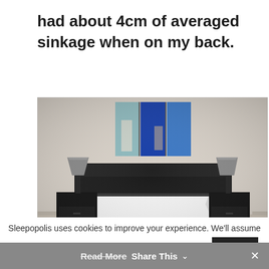had about 4cm of averaged sinkage when on my back.
[Figure (photo): A neatly made white mattress/bed with a dark headboard in a bedroom. Two black nightstands with gray lamps flank both sides. A blue and white abstract triptych artwork hangs on the wall above the headboard.]
Sleepopolis uses cookies to improve your experience. We'll assume you're okay with this, but you can opt-out if you wish.
Read More  Share This  ∨  ×